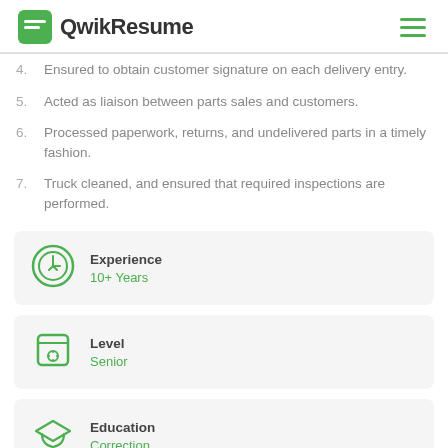QwikResume
4. Ensured to obtain customer signature on each delivery entry.
5. Acted as liaison between parts sales and customers.
6. Processed paperwork, returns, and undelivered parts in a timely fashion.
7. Truck cleaned, and ensured that required inspections are performed.
Experience
10+ Years
Level
Senior
Education
Correction